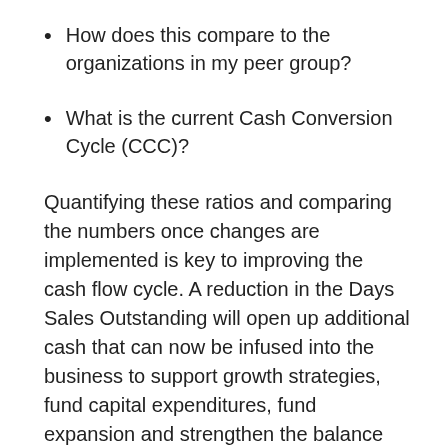How does this compare to the organizations in my peer group?
What is the current Cash Conversion Cycle (CCC)?
Quantifying these ratios and comparing the numbers once changes are implemented is key to improving the cash flow cycle. A reduction in the Days Sales Outstanding will open up additional cash that can now be infused into the business to support growth strategies, fund capital expenditures, fund expansion and strengthen the balance sheet. In addition, when an organization has an improved cash perspective, there are a